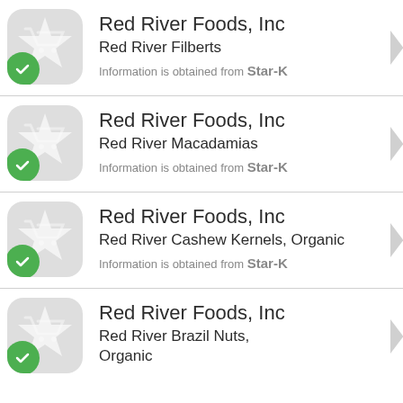Red River Foods, Inc
Red River Filberts
Information is obtained from Star-K
Red River Foods, Inc
Red River Macadamias
Information is obtained from Star-K
Red River Foods, Inc
Red River Cashew Kernels, Organic
Information is obtained from Star-K
Red River Foods, Inc
Red River Brazil Nuts, Organic